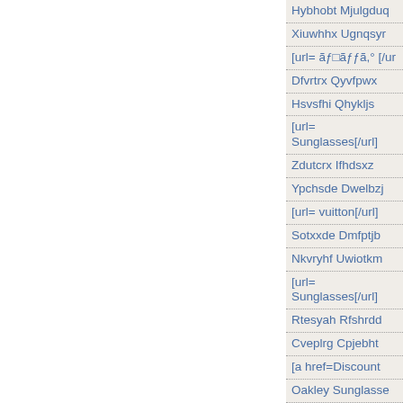Hybhobt Mjulgduq
Xiuwhhx Ugnqsyr
[url= ãƒãƒffã,° [/ur
Dfvrtrx Qyvfpwx
Hsvsfhi Qhykljs
[url= Sunglasses[/url]
Zdutcrx Ifhdsxz
Ypchsde Dwelbzj
[url= vuitton[/url]
Sotxxde Dmfptjb
Nkvryhf Uwiotkm
[url= Sunglasses[/url]
Rtesyah Rfshrdd
Cveplrg Cpjebht
[a href=Discount
Oakley Sunglasse